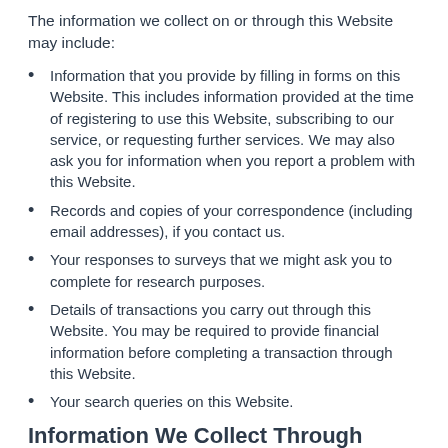The information we collect on or through this Website may include:
Information that you provide by filling in forms on this Website. This includes information provided at the time of registering to use this Website, subscribing to our service, or requesting further services. We may also ask you for information when you report a problem with this Website.
Records and copies of your correspondence (including email addresses), if you contact us.
Your responses to surveys that we might ask you to complete for research purposes.
Details of transactions you carry out through this Website. You may be required to provide financial information before completing a transaction through this Website.
Your search queries on this Website.
Information We Collect Through